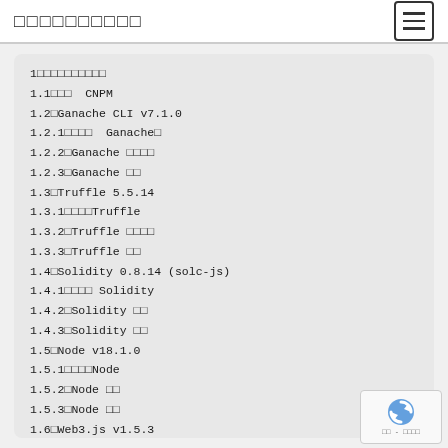□□□□□□□□□□
1□□□□□□□□□□
1.1□□□  CNPM
1.2□Ganache CLI v7.1.0
1.2.1□□□□  Ganache□
1.2.2□Ganache □□□□
1.2.3□Ganache □□
1.3□Truffle 5.5.14
1.3.1□□□□Truffle
1.3.2□Truffle □□□□
1.3.3□Truffle □□
1.4□Solidity 0.8.14 (solc-js)
1.4.1□□□□ Solidity
1.4.2□Solidity □□
1.4.3□Solidity □□
1.5□Node v18.1.0
1.5.1□□□□Node
1.5.2□Node □□
1.5.3□Node □□
1.6□Web3.js v1.5.3
1.6.1□□□□Web3
1.6.2□Web3 □□